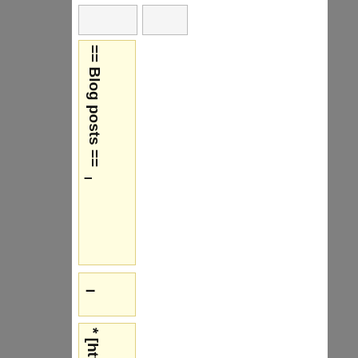== Blog posts ==
-
* [http://lesswrong.com/lw/ih/absence